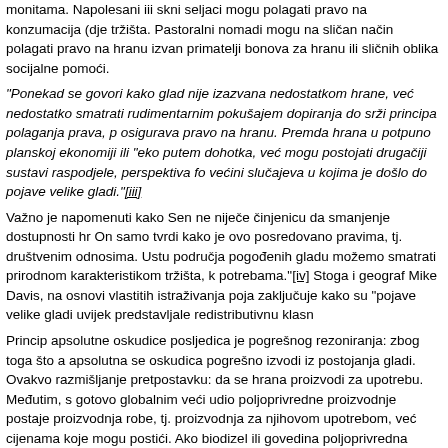monitama. Napolesani iii skni seljaci mogu polagati pravo na konzumacija (dje tržišta. Pastoralni nomadi mogu na sličan način polagati pravo na hranu izvan primatelji bonova za hranu ili sličnih oblika socijalne pomoći.
"Ponekad se govori kako glad nije izazvana nedostatkom hrane, već nedostatko smatrati rudimentarnim pokušajem dopiranja do srži principa polaganja prava, p osigurava pravo na hranu. Premda hrana u potpuno planskoj ekonomiji ili "eko putem dohotka, već mogu postojati drugačiji sustavi raspodjele, perspektiva fo većini slučajeva u kojima je došlo do pojave velike gladi."[iii]
Važno je napomenuti kako Sen ne niječe činjenicu da smanjenje dostupnosti hr On samo tvrdi kako je ovo posredovano pravima, tj. društvenim odnosima. Ustu područja pogođenih gladu možemo smatrati prirodnom karakteristikom tržišta, k potrebama."[iv] Stoga i geograf Mike Davis, na osnovi vlastitih istraživanja poja zaključuje kako su "pojave velike gladi uvijek predstavljale redistributivnu klasn
Princip apsolutne oskudice posljedica je pogrešnog rezoniranja: zbog toga što a apsolutna se oskudica pogrešno izvodi iz postojanja gladi. Ovakvo razmišljanje pretpostavku: da se hrana proizvodi za upotrebu. Međutim, s gotovo globalnim veći udio poljoprivredne proizvodnje postaje proizvodnja robe, tj. proizvodnja za njihovom upotrebom, već cijenama koje mogu postići. Ako biodizel ili govedina poljoprivredna površina prenamjenjuje se za prehranu automobila ili krava dok citiramo uvodni redak Senovog eseja: "Glad znači da neki ljudi nemaju dovoljn ne postoji dovoljno hrane za jelo."[vi]
Politička ekonomija gladi